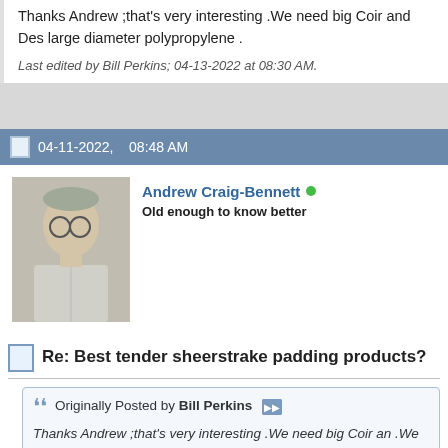Thanks Andrew ;that's very interesting .We need big Coir and Best large diameter polypropylene .
Last edited by Bill Perkins; 04-13-2022 at 08:30 AM.
04-11-2022,    08:48 AM
Andrew Craig-Bennett
Old enough to know better
Re: Best tender sheerstrake padding products?
Originally Posted by Bill Perkins
Thanks Andrew ;that's very interesting .We need big Coir an .We do have large diameter polypropylene .
Bill - someone somewhere will have big coir rope. I don't need to te under any circumstances - it is much less durable than coconut hu microplastics in the sea!